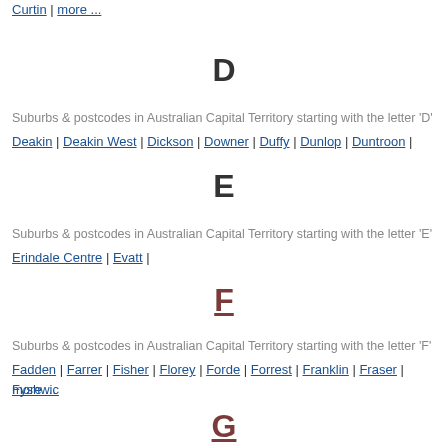Curtin | more ...
D
Suburbs & postcodes in Australian Capital Territory starting with the letter 'D'
Deakin | Deakin West | Dickson | Downer | Duffy | Dunlop | Duntroon |
E
Suburbs & postcodes in Australian Capital Territory starting with the letter 'E'
Erindale Centre | Evatt |
F
Suburbs & postcodes in Australian Capital Territory starting with the letter 'F'
Fadden | Farrer | Fisher | Florey | Forde | Forrest | Franklin | Fraser | Fyshwick | more ...
G
Suburbs & postcodes in Australian Capital Territory starting with the letter 'G'